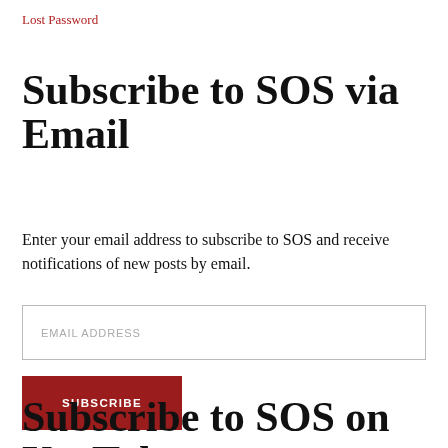Lost Password
Subscribe to SOS via Email
Enter your email address to subscribe to SOS and receive notifications of new posts by email.
EMAIL ADDRESS
SUBSCRIBE
Subscribe to SOS on YouTube